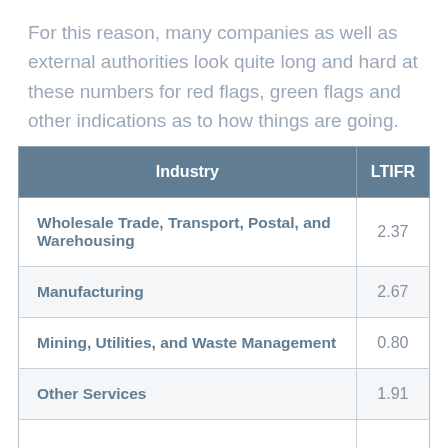For this reason, many companies as well as external authorities look quite long and hard at these numbers for red flags, green flags and other indications as to how things are going.
| Industry | LTIFR |
| --- | --- |
| Wholesale Trade, Transport, Postal, and Warehousing | 2.37 |
| Manufacturing | 2.67 |
| Mining, Utilities, and Waste Management | 0.80 |
| Other Services | 1.91 |
|  |  |